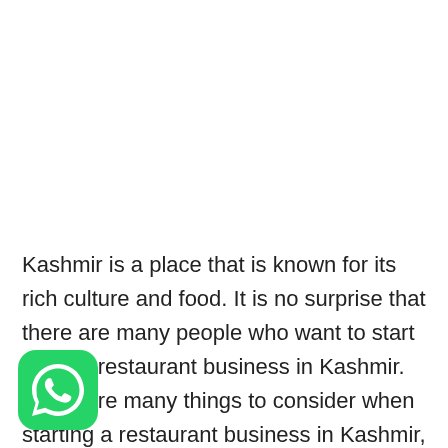Kashmir is a place that is known for its rich culture and food. It is no surprise that there are many people who want to start a small restaurant business in Kashmir. There are many things to consider when starting a restaurant business in Kashmir, but the most important is to make sure that you have a good plan and strategy.
[Figure (logo): WhatsApp logo icon — green rounded square with white phone handset inside]